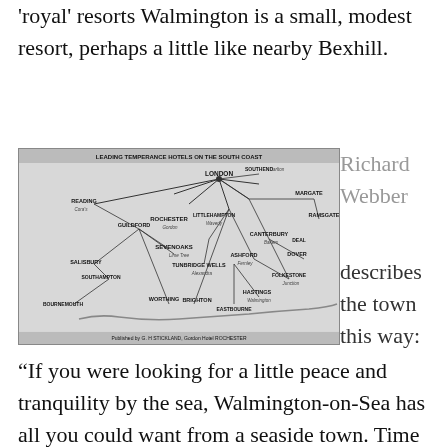'royal' resorts Walmington is a small, modest resort, perhaps a little like nearby Bexhill.
[Figure (map): Historical map titled 'Leading Temperance Hotels on the South Coast' showing railway connections between towns including London, Reading, Guildford, Salisbury, Southampton, Bournemouth, Brighton, Hastings, Folkestone, Dover, Canterbury, Sevenoaks, Tunbridge Wells and others. Published by G. H. Stickland, Gordon Hotel, Rochester.]
Richard Webber describes the town this way:
“If you were looking for a little peace and tranquility by the sea, Walmington-on-Sea has all you could want from a seaside town. Time seems to stand still in this sleepy little resort, and not just because the town